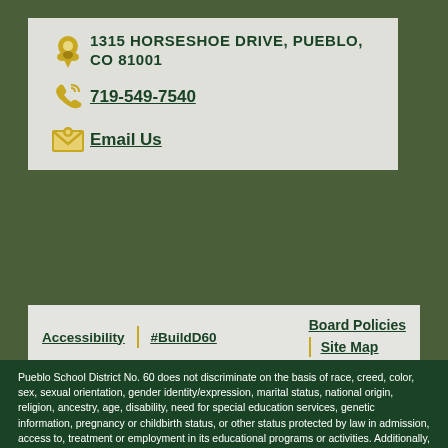1315 HORSESHOE DRIVE, PUEBLO, CO 81001
719-549-7540
Email Us
Accessibility | #BuildD60  Board Policies  Site Map
Pueblo School District No. 60 does not discriminate on the basis of race, creed, color, sex, sexual orientation, gender identity/expression, marital status, national origin, religion, ancestry, age, disability, need for special education services, genetic information, pregnancy or childbirth status, or other status protected by law in admission, access to, treatment or employment in its educational programs or activities. Additionally, a lack of English language skills